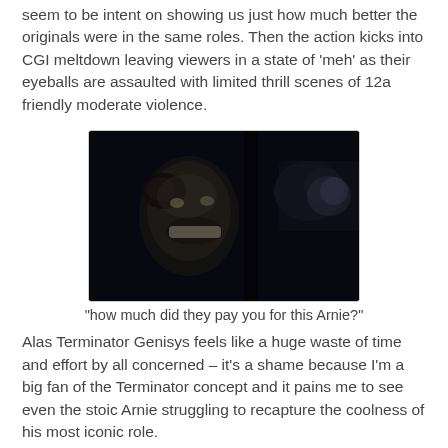seem to be intent on showing us just how much better the originals were in the same roles. Then the action kicks into CGI meltdown leaving viewers in a state of 'meh' as their eyeballs are assaulted with limited thrill scenes of 12a friendly moderate violence.
[Figure (photo): A scene from Terminator Genisys showing a character (Arnold Schwarzenegger) smiling/grimacing while seated in a vehicle, with a dark, dramatic lighting effect on his face.]
"how much did they pay you for this Arnie?"
Alas Terminator Genisys feels like a huge waste of time and effort by all concerned – it's a shame because I'm a big fan of the Terminator concept and it pains me to see even the stoic Arnie struggling to recapture the coolness of his most iconic role.
So apart from the opening reworking of the original, is there